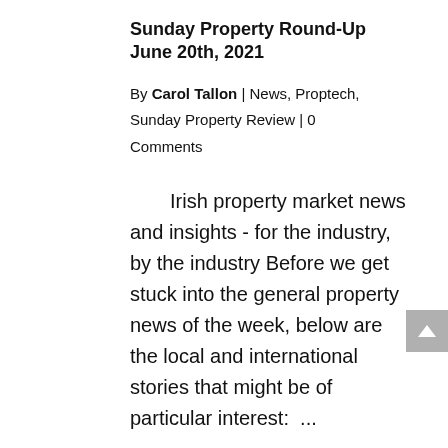Sunday Property Round-Up June 20th, 2021
By Carol Tallon | News, Proptech, Sunday Property Review | 0 Comments
Irish property market news and insights - for the industry, by the industry Before we get stuck into the general property news of the week, below are the local and international stories that might be of particular interest:  ...